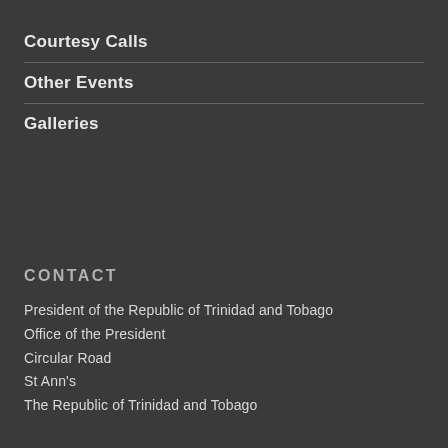Courtesy Calls
Other Events
Galleries
CONTACT
President of the Republic of Trinidad and Tobago
Office of the President
Circular Road
St Ann's
The Republic of Trinidad and Tobago